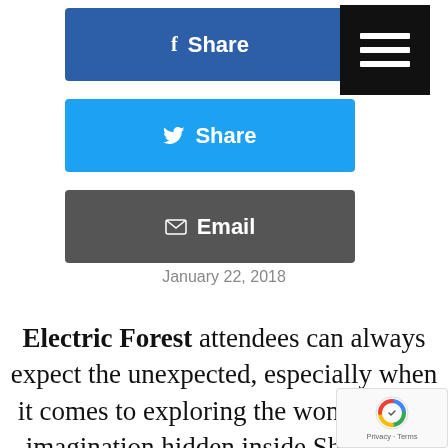[Figure (screenshot): Facebook Share button (blue rounded rectangle with f icon and 'Share' text)]
[Figure (screenshot): Twitter Share button (light blue rounded rectangle with bird icon and 'Share' text)]
[Figure (screenshot): Email button (dark grey rounded rectangle with envelope icon and 'Email' text)]
[Figure (screenshot): Hamburger menu button (black square with three white horizontal lines)]
January 22, 2018
Electric Forest attendees can always expect the unexpected, especially when it comes to exploring the wonders and imagination hidden inside Sherwood Forest. Behind every nook and cranny it seems there is something to discover.